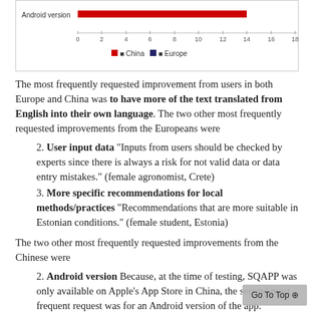[Figure (bar-chart): Partial horizontal bar chart showing Android version bar for China (red) extending to approximately 14, with Europe legend. X-axis: 0 to 18.]
The most frequently requested improvement from users in both Europe and China was to have more of the text translated from English into their own language. The two other most frequently requested improvements from the Europeans were
2. User input data "Inputs from users should be checked by experts since there is always a risk for not valid data or data entry mistakes." (female agronomist, Crete)
3. More specific recommendations for local methods/practices "Recommendations that are more suitable in Estonian conditions." (female student, Estonia)
The two other most frequently requested improvements from the Chinese were
2. Android version Because, at the time of testing, SQAPP was only available on Apple's App Store in China, the second most frequent request was for an Android version of the app.
3. Soil data temporal/spatial resolution "I think it needs improvement in accuracy." (male researcher, Qiyang/Gongzhuling)